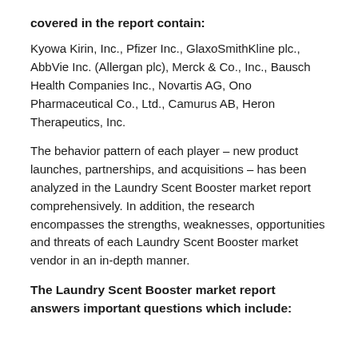covered in the report contain:
Kyowa Kirin, Inc., Pfizer Inc., GlaxoSmithKline plc., AbbVie Inc. (Allergan plc), Merck & Co., Inc., Bausch Health Companies Inc., Novartis AG, Ono Pharmaceutical Co., Ltd., Camurus AB, Heron Therapeutics, Inc.
The behavior pattern of each player – new product launches, partnerships, and acquisitions – has been analyzed in the Laundry Scent Booster market report comprehensively. In addition, the research encompasses the strengths, weaknesses, opportunities and threats of each Laundry Scent Booster market vendor in an in-depth manner.
The Laundry Scent Booster market report answers important questions which include: